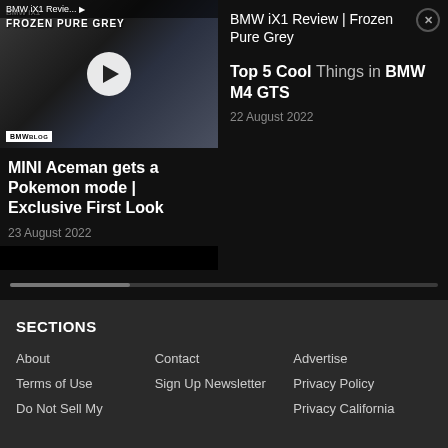[Figure (screenshot): Video thumbnail for BMW iX1 Review | Frozen Pure Grey with play button overlay and BMWBLOG badge]
BMW iX1 Revie...
BMW iX1 Review | Frozen Pure Grey
MINI Aceman gets a Pokemon mode | Exclusive First Look
23 August 2022
Top 5 Cool Things in BMW M4 GTS
22 August 2022
SECTIONS
About
Contact
Advertise
Terms of Use
Sign Up Newsletter
Privacy Policy
Do Not Sell My
Privacy California